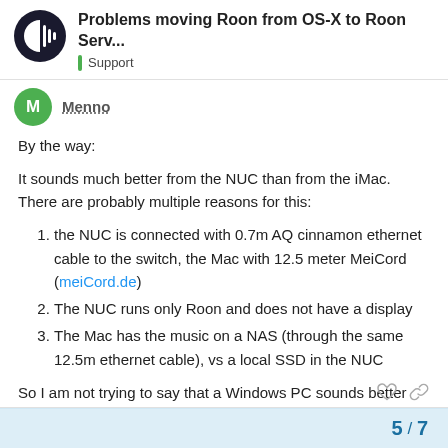Problems moving Roon from OS-X to Roon Serv... | Support
Menno
By the way:
It sounds much better from the NUC than from the iMac. There are probably multiple reasons for this:
the NUC is connected with 0.7m AQ cinnamon ethernet cable to the switch, the Mac with 12.5 meter MeiCord (meiCord.de)
The NUC runs only Roon and does not have a display
The Mac has the music on a NAS (through the same 12.5m ethernet cable), vs a local SSD in the NUC
So I am not trying to say that a Windows PC sounds better than an iMac 😉
5 / 7